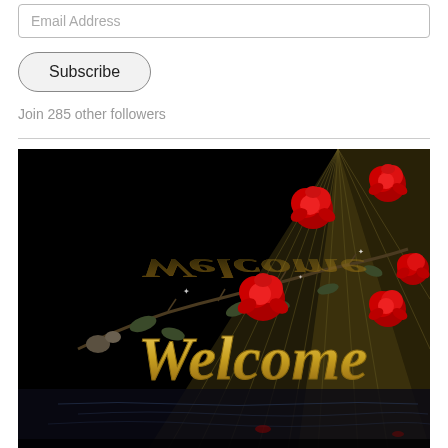Email Address
Subscribe
Join 285 other followers
[Figure (illustration): Decorative welcome image with black background, golden fan shape with radiating lines, red roses on thorny branches, and golden script text 'Welcome' with water reflection below]